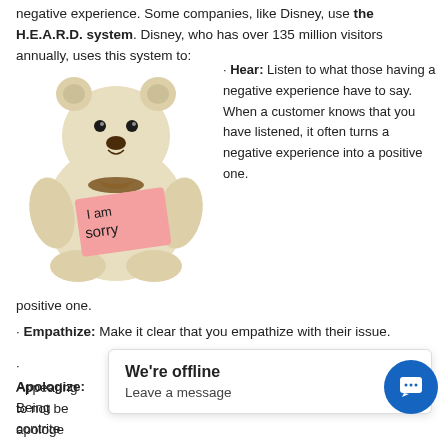negative experience. Some companies, like Disney, use the H.E.A.R.D. system. Disney, who has over 135 million visitors annually, uses this system to:
[Figure (photo): A white teddy bear holding a pink note that says 'I am sorry', with a brown bow tie around its neck.]
• Hear: Listen to what those having a negative experience have to say. When a customer knows that you have listened, it often turns a negative experience into a positive one.
• Empathize: Make it clear that you empathize with their issue.
• Apologize: Being contrite ... Appearing to not be apologe... ome... reputation.
We're offline
Leave a message